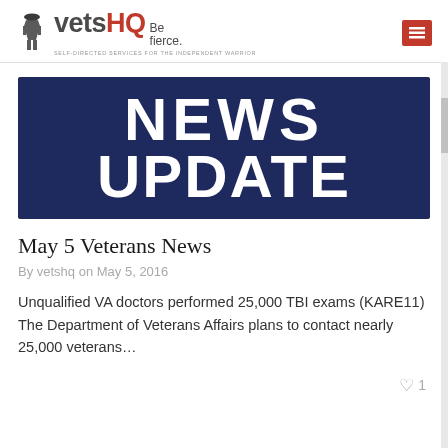vetsHQ Be fierce. SELF-DIRECTED SERVICES FOR THE INDEPENDENT WARRIOR
[Figure (illustration): News Update banner image with dark navy blue background and large white bold text reading NEWS UPDATE]
May 5 Veterans News
By vetshq on May 5, 2016
Unqualified VA doctors performed 25,000 TBI exams (KARE11) The Department of Veterans Affairs plans to contact nearly 25,000 veterans...